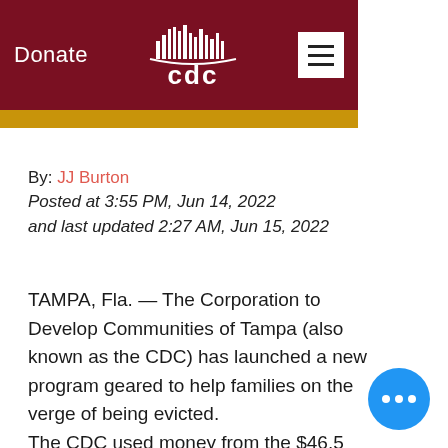Donate | CDC (Corporation to Develop Communities of Tampa)
By: JJ Burton
Posted at 3:55 PM, Jun 14, 2022
and last updated 2:27 AM, Jun 15, 2022
TAMPA, Fla. — The Corporation to Develop Communities of Tampa (also known as the CDC) has launched a new program geared to help families on the verge of being evicted.
The CDC used money from the $46.5 billion emergency rental assistance Congress passed to help families rebound from the pandemic.